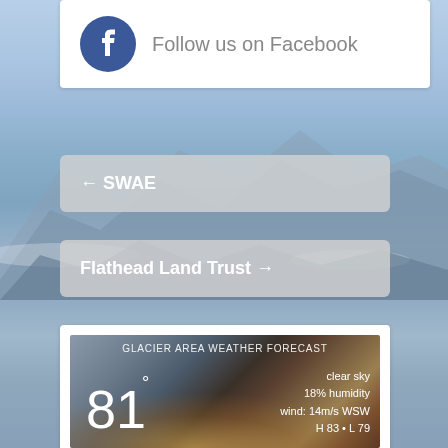[Figure (illustration): Mountain landscape background with blue sky and snow-capped peaks]
Follow us on Facebook
← SWAE
Flathead Land Trust →
GLACIER AREA WEATHER FORECAST
81° clear sky 18% humidity wind: 14m/s WSW H 83 • L 79